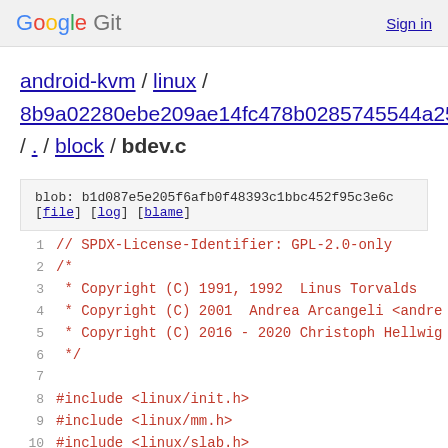Google Git  Sign in
android-kvm / linux / 8b9a02280ebe209ae14fc478b0285745544a257c / . / block / bdev.c
blob: b1d087e5e205f6afb0f48393c1bbc452f95c3e6c [file] [log] [blame]
1  // SPDX-License-Identifier: GPL-2.0-only
2  /*
3   * Copyright (C) 1991, 1992  Linus Torvalds
4   * Copyright (C) 2001  Andrea Arcangeli <andre
5   * Copyright (C) 2016 - 2020 Christoph Hellwig
6   */
7  
8  #include <linux/init.h>
9  #include <linux/mm.h>
10 #include <linux/slab.h>